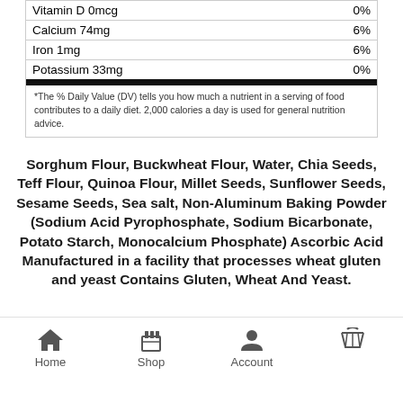| Nutrient | % Daily Value |
| --- | --- |
| Vitamin D 0mcg | 0% |
| Calcium 74mg | 6% |
| Iron 1mg | 6% |
| Potassium 33mg | 0% |
*The % Daily Value (DV) tells you how much a nutrient in a serving of food contributes to a daily diet. 2,000 calories a day is used for general nutrition advice.
Sorghum Flour, Buckwheat Flour, Water, Chia Seeds, Teff Flour, Quinoa Flour, Millet Seeds, Sunflower Seeds, Sesame Seeds, Sea salt, Non-Aluminum Baking Powder (Sodium Acid Pyrophosphate, Sodium Bicarbonate, Potato Starch, Monocalcium Phosphate) Ascorbic Acid Manufactured in a facility that processes wheat gluten and yeast Contains Gluten, Wheat And Yeast.
[Figure (screenshot): Quantity selector with minus button, quantity 1, plus button, and Details link below]
Home   Shop   Account   [cart]